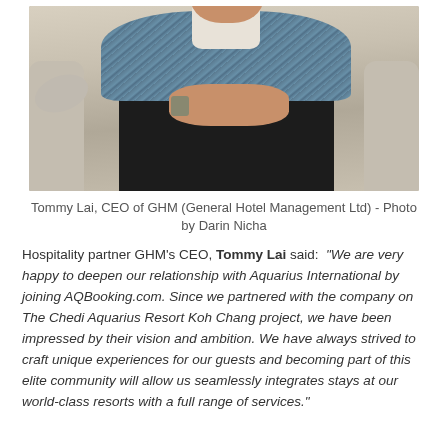[Figure (photo): Photo of Tommy Lai, CEO of GHM, seated on a sofa wearing a plaid shirt, hands clasped]
Tommy Lai, CEO of GHM (General Hotel Management Ltd) - Photo by Darin Nicha
Hospitality partner GHM's CEO, Tommy Lai said: "We are very happy to deepen our relationship with Aquarius International by joining AQBooking.com. Since we partnered with the company on The Chedi Aquarius Resort Koh Chang project, we have been impressed by their vision and ambition. We have always strived to craft unique experiences for our guests and becoming part of this elite community will allow us seamlessly integrates stays at our world-class resorts with a full range of services."